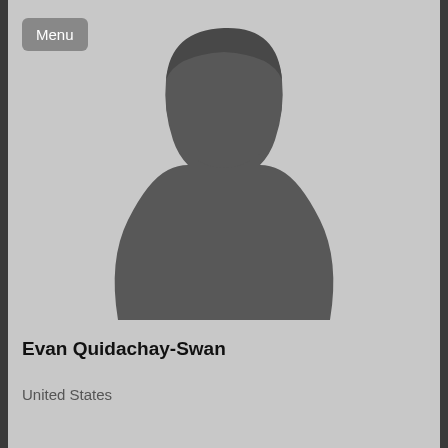Menu
[Figure (illustration): Generic silhouette placeholder profile photo of a person against a light grey background]
Evan Quidachay-Swan
United States